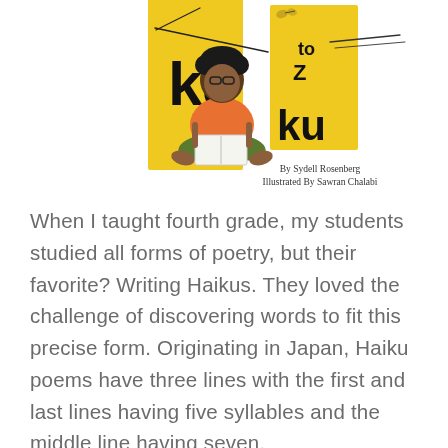[Figure (illustration): Book cover illustration showing a child with glasses sitting cross-legged reading a book, with yellow rectangular panels behind them. Text on cover reads 'ku' (partial title, likely Haiku), 'to Z', 'By Sydell Rosenberg', 'Illustrated By Sawran Chalabi'.]
When I taught fourth grade, my students studied all forms of poetry, but their favorite? Writing Haikus. They loved the challenge of discovering words to fit this precise form. Originating in Japan, Haiku poems have three lines with the first and last lines having five syllables and the middle line having seven.
Now that I teach kindergarten I still love the